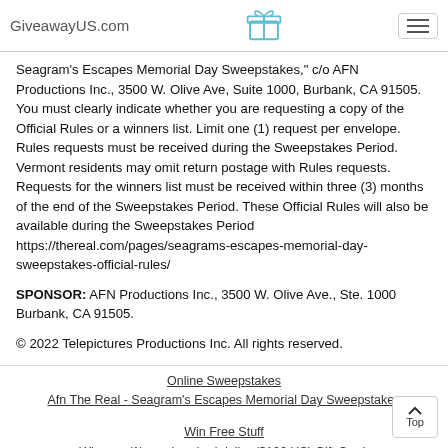GiveawayUS.com
Seagram's Escapes Memorial Day Sweepstakes," c/o AFN Productions Inc., 3500 W. Olive Ave, Suite 1000, Burbank, CA 91505. You must clearly indicate whether you are requesting a copy of the Official Rules or a winners list. Limit one (1) request per envelope. Rules requests must be received during the Sweepstakes Period. Vermont residents may omit return postage with Rules requests. Requests for the winners list must be received within three (3) months of the end of the Sweepstakes Period. These Official Rules will also be available during the Sweepstakes Period https://thereal.com/pages/seagrams-escapes-memorial-day-sweepstakes-official-rules/
SPONSOR: AFN Productions Inc., 3500 W. Olive Ave., Ste. 1000 Burbank, CA 91505.
© 2022 Telepictures Productions Inc. All rights reserved.
Online Sweepstakes | Afn The Real - Seagram's Escapes Memorial Day Sweepstakes | Win Free Stuff | Win one (1) one hundred dollar ($100 US) Gift Card.